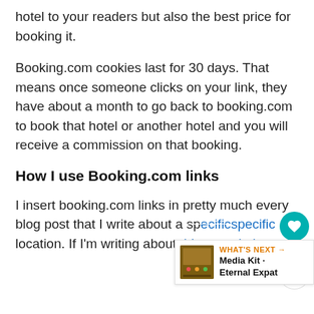hotel to your readers but also the best price for booking it.
Booking.com cookies last for 30 days. That means once someone clicks on your link, they have about a month to go back to booking.com to book that hotel or another hotel and you will receive a commission on that booking.
How I use Booking.com links
I insert booking.com links in pretty much every blog post that I write about a specific location. If I'm writing about things to do in
[Figure (other): Floating UI elements: a teal heart/like button showing count of 1, and a share button below it]
[Figure (other): WHAT'S NEXT overlay panel with thumbnail image and text: Media Kit · Eternal Expat]